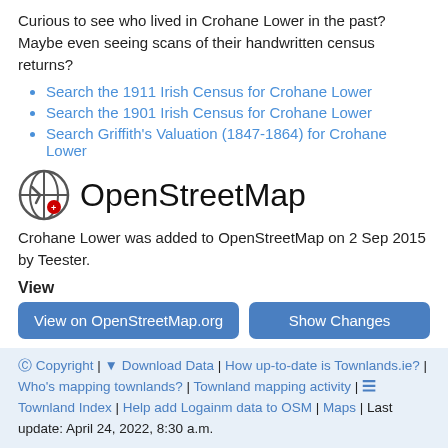Curious to see who lived in Crohane Lower in the past? Maybe even seeing scans of their handwritten census returns?
Search the 1911 Irish Census for Crohane Lower
Search the 1901 Irish Census for Crohane Lower
Search Griffith's Valuation (1847-1864) for Crohane Lower
OpenStreetMap
Crohane Lower was added to OpenStreetMap on 2 Sep 2015 by Teester.
View
View on OpenStreetMap.org
Show Changes
Edit
JOSM
iD
Potlatch
Level0
© Copyright | ⏬ Download Data | How up-to-date is Townlands.ie? | Who's mapping townlands? | Townland mapping activity | ☰ Townland Index | Help add Logainm data to OSM | Maps | Last update: April 24, 2022, 8:30 a.m.